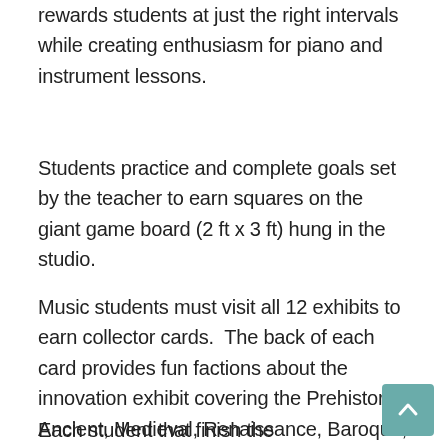rewards students at just the right intervals while creating enthusiasm for piano and instrument lessons.
Students practice and complete goals set by the teacher to earn squares on the giant game board (2 ft x 3 ft) hung in the studio.
Music students must visit all 12 exhibits to earn collector cards.  The back of each card provides fun factions about the innovation exhibit covering the Prehistoric, Ancient, Medieval, Renaissance, Baroque, Romantic, Classical, Impressionistic, Modern, Contemporary, 21st Century eras.
Each student that finish the...